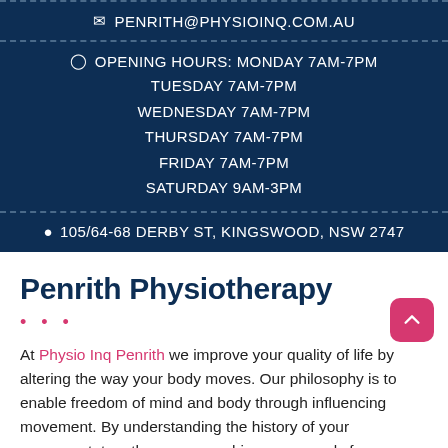PENRITH@PHYSIOINQ.COM.AU
OPENING HOURS: MONDAY 7AM-7PM TUESDAY 7AM-7PM WEDNESDAY 7AM-7PM THURSDAY 7AM-7PM FRIDAY 7AM-7PM SATURDAY 9AM-3PM
105/64-68 DERBY ST, KINGSWOOD, NSW 2747
Penrith Physiotherapy
At Physio Inq Penrith we improve your quality of life by altering the way your body moves. Our philosophy is to enable freedom of mind and body through influencing movement. By understanding the history of your movement, together we can achieve your goals for tomorrow.